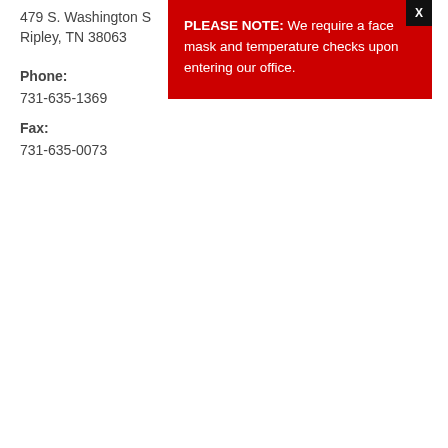479 S. Washington S
Ripley, TN 38063
Phone:
731-635-1369
Fax:
731-635-0073
PLEASE NOTE: We require a face mask and temperature checks upon entering our office.